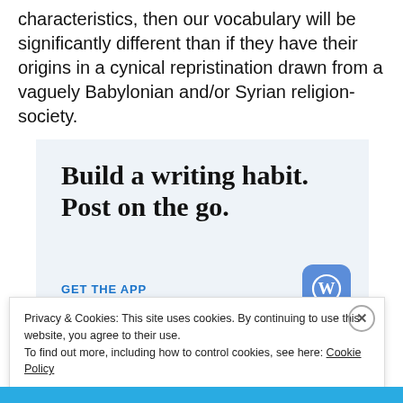characteristics, then our vocabulary will be significantly different than if they have their origins in a cynical repristination drawn from a vaguely Babylonian and/or Syrian religion-society.
[Figure (other): Advertisement banner with light blue background showing the text 'Build a writing habit. Post on the go.' with a 'GET THE APP' link and WordPress logo icon.]
Privacy & Cookies: This site uses cookies. By continuing to use this website, you agree to their use.
To find out more, including how to control cookies, see here: Cookie Policy
Close and accept